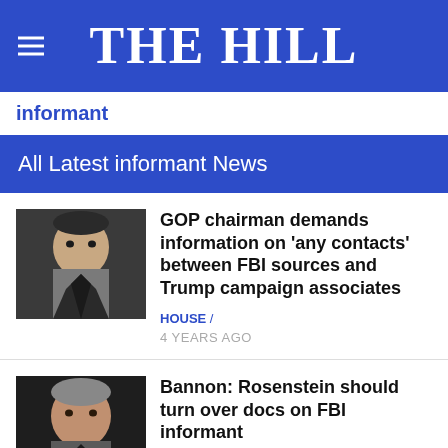THE HILL
informant
All Latest informant News
[Figure (photo): Man in suit, dark background — thumbnail for GOP chairman article]
GOP chairman demands information on 'any contacts' between FBI sources and Trump campaign associates
HOUSE / 
4 YEARS AGO
[Figure (photo): Man at microphone, dark background — thumbnail for Bannon article]
Bannon: Rosenstein should turn over docs on FBI informant
NEWS /